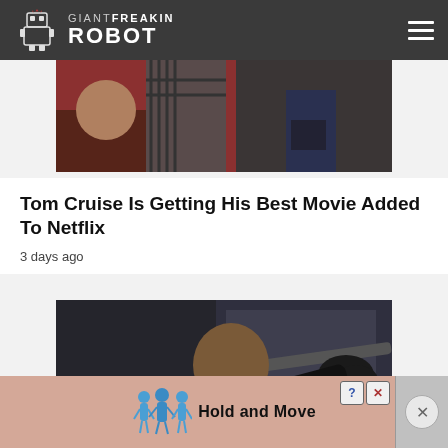GIANT FREAKIN ROBOT
[Figure (photo): Partial view of a movie scene showing a person in plaid and another person in a short skirt in background, red wall visible]
Tom Cruise Is Getting His Best Movie Added To Netflix
3 days ago
[Figure (photo): A man in a dark suit and gloves holds a metal bar in what appears to be an action movie scene]
[Figure (screenshot): Advertisement banner reading 'Hold and Move' with blue cartoon figures and close/help buttons]